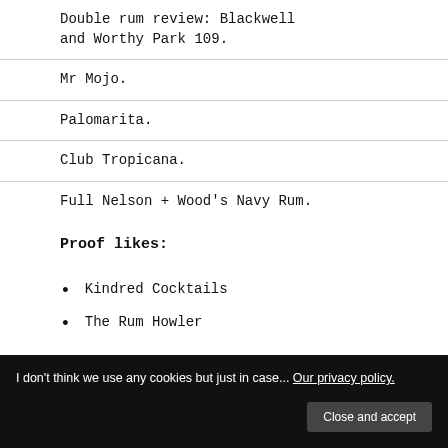Double rum review: Blackwell and Worthy Park 109.
Mr Mojo.
Palomarita.
Club Tropicana.
Full Nelson + Wood's Navy Rum.
Proof likes:
Kindred Cocktails
The Rum Howler
I don't think we use any cookies but just in case... Our privacy policy. Close and accept